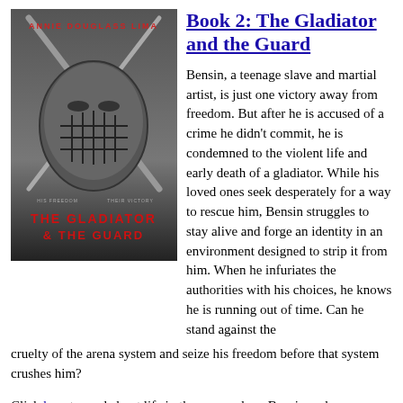[Figure (illustration): Book cover of 'The Gladiator & The Guard' by Annie Douglass Lima, showing a goalie mask/helmet with crossed swords behind it on a dark background, with red text reading 'THE GLADIATOR & THE GUARD' and subtitle 'HIS FREEDOM THEIR VICTORY']
Book 2: The Gladiator and the Guard
Bensin, a teenage slave and martial artist, is just one victory away from freedom. But after he is accused of a crime he didn't commit, he is condemned to the violent life and early death of a gladiator. While his loved ones seek desperately for a way to rescue him, Bensin struggles to stay alive and forge an identity in an environment designed to strip it from him. When he infuriates the authorities with his choices, he knows he is running out of time. Can he stand against the cruelty of the arena system and seize his freedom before that system crushes him?
Click here to read about life in the arena where Bensin and